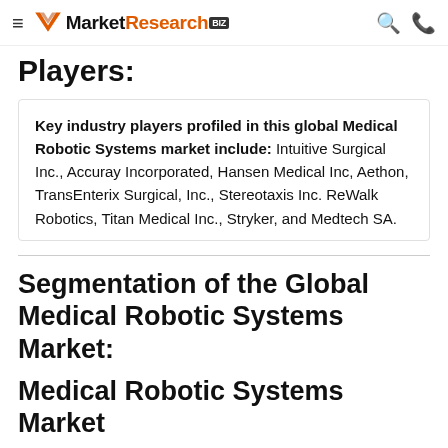MarketResearch.biz
Players:
Key industry players profiled in this global Medical Robotic Systems market include: Intuitive Surgical Inc., Accuray Incorporated, Hansen Medical Inc, Aethon, TransEnterix Surgical, Inc., Stereotaxis Inc. ReWalk Robotics, Titan Medical Inc., Stryker, and Medtech SA.
Segmentation of the Global Medical Robotic Systems Market:
Medical Robotic Systems Market